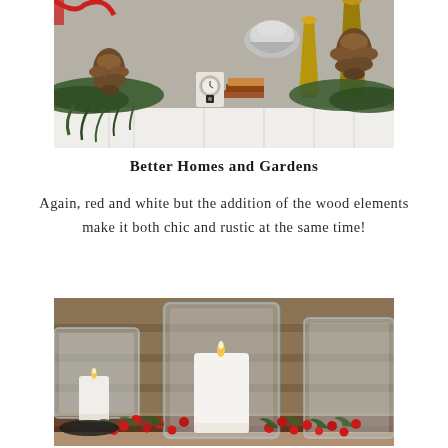[Figure (photo): A festive holiday mantel with pine branches, pinecones, brass vases, a small clock, red ribbon accents, and stacked books on a white mantelpiece]
Better Homes and Gardens
Again, red and white but the addition of the wood elements make it both chic and rustic at the same time!
[Figure (photo): A Christmas table centerpiece with white pillar candles in clear glass hurricane vases, surrounded by red berries and pine sprigs on a wooden surface]